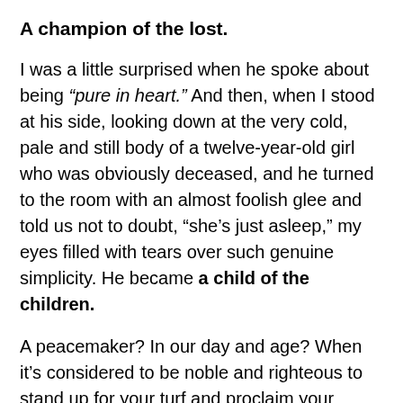A champion of the lost.
I was a little surprised when he spoke about being “pure in heart.” And then, when I stood at his side, looking down at the very cold, pale and still body of a twelve-year-old girl who was obviously deceased, and he turned to the room with an almost foolish glee and told us not to doubt, “she’s just asleep,” my eyes filled with tears over such genuine simplicity. He became a child of the children.
A peacemaker? In our day and age? When it’s considered to be noble and righteous to stand up for your turf and proclaim your worth? I watched him carefully. When he was obviously snubbed one day by a Samaritan village which had formerly welcomed him, and now had decided to renege on the invitation, and those around him wanted to declare war on the inhabitants, he stopped them, and